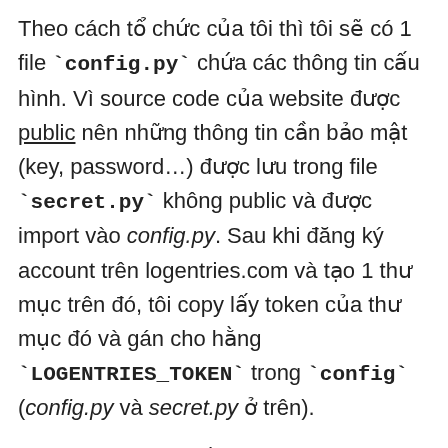Theo cách tổ chức của tôi thì tôi sẽ có 1 file `config.py` chứa các thông tin cấu hình. Vì source code của website được public nên những thông tin cần bảo mật (key, password…) được lưu trong file `secret.py` không public và được import vào config.py. Sau khi đăng ký account trên logentries.com và tạo 1 thư mục trên đó, tôi copy lấy token của thư mục đó và gán cho hằng `LOGENTRIES_TOKEN` trong `config` (config.py và secret.py ở trên).
Vì logentries chỉ nhằm dùng khi chạy ở production mode (chứ ở development mode thì log luôn ra Terminal cho tiện làm việc) nên tôi sẽ cấu hình để sử